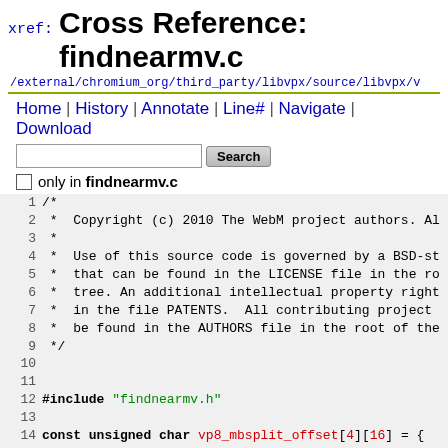xref: Cross Reference: findnearmv.c
/external/chromium_org/third_party/libvpx/source/libvpx/v
Home | History | Annotate | Line# | Navigate | Download
only in findnearmv.c
1  /*
2   * Copyright (c) 2010 The WebM project authors. Al
3   *
4   *  Use of this source code is governed by a BSD-st
5   *  that can be found in the LICENSE file in the ro
6   *  tree. An additional intellectual property right
7   *  in the file PATENTS.  All contributing project
8   *  be found in the AUTHORS file in the root of the
9   */
10
11
12 #include "findnearmv.h"
13
14 const unsigned char vp8_mbsplit_offset[4][16] = {
15      { 0,  8,  0,  0,  0,  0,  0,  0,  0,  0,  0,
16      { 0,  2,  0,  0,  0,  0,  0,  0,  0,  0,  0,
17      { 0,  2,  8, 10,  0,  0,  0,  0,  0,  0,  0,
18      { 0,  1,  2,  3,  4,  5,  6,  7,  8,  9, 10,